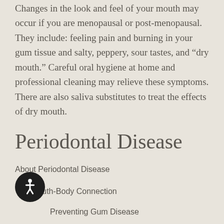Changes in the look and feel of your mouth may occur if you are menopausal or post-menopausal. They include: feeling pain and burning in your gum tissue and salty, peppery, sour tastes, and “dry mouth.” Careful oral hygiene at home and professional cleaning may relieve these symptoms. There are also saliva substitutes to treat the effects of dry mouth.
Periodontal Disease
About Periodontal Disease
The Mouth-Body Connection
Preventing Gum Disease